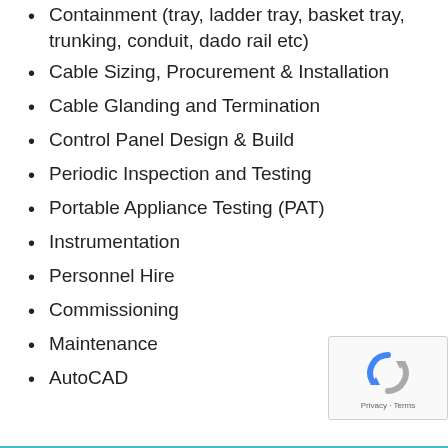Containment (tray, ladder tray, basket tray, trunking, conduit, dado rail etc)
Cable Sizing, Procurement & Installation
Cable Glanding and Termination
Control Panel Design & Build
Periodic Inspection and Testing
Portable Appliance Testing (PAT)
Instrumentation
Personnel Hire
Commissioning
Maintenance
AutoCAD
[Figure (other): reCAPTCHA widget with Privacy and Terms text]